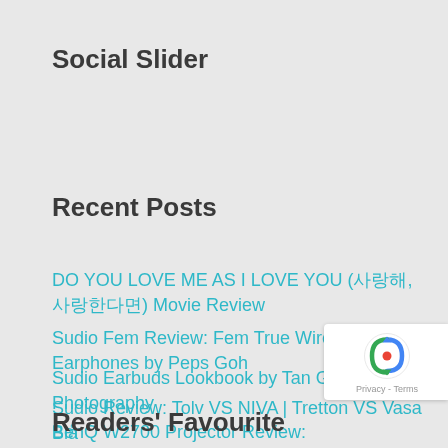Social Slider
Recent Posts
DO YOU LOVE ME AS I LOVE YOU (사랑해, 사랑한다면) Movie Review
Sudio Fem Review: Fem True Wireless Earphones by Peps Goh
Sudio Earbuds Lookbook by Tan Genghui Photography
Sudio Review: Tolv VS NIVA | Tretton VS Vasa Blå
BenQ W2700 Projector Review: To Buy Or Not To Buy?
Readers' Favourite